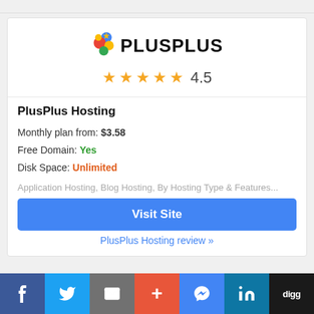[Figure (logo): PlusPlus colorful logo icon with text PLUSPLUS in bold black]
★★★★★ 4.5
PlusPlu Hosting
Monthly plan from: $3.58
Free Domain: Yes
Disk Space: Unlimited
Application Hosting, Blog Hosting, By Hosting Type & Features...
Visit Site
PlusPlus Hosting review »
[Figure (infographic): Social sharing bar with Facebook, Twitter, Email, Plus, Messenger, LinkedIn, Digg icons]